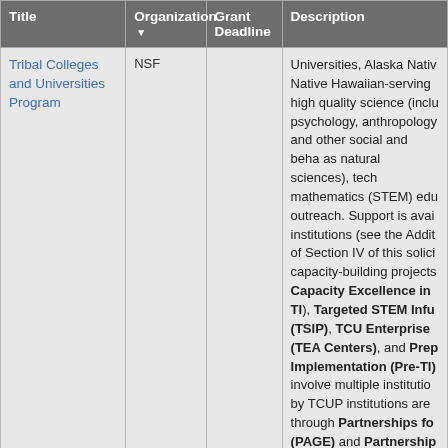| Title | Organization ▼ | Grant Deadline | Description |
| --- | --- | --- | --- |
| Tribal Colleges and Universities Program | NSF |  | Universities, Alaska Native Native Hawaiian-serving high quality science (inclu psychology, anthropology and other social and beha as natural sciences), tech mathematics (STEM) edu outreach. Support is avai institutions (see the Addit of Section IV of this solici capacity-building projects Capacity Excellence in TI), Targeted STEM Infu (TSIP), TCU Enterprise (TEA Centers), and Prep Implementation (Pre-TI) involve multiple institutio by TCUP institutions are through Partnerships fo (PAGE) and Partnership Linguistics Education ( studies that further the so individual faculty... |